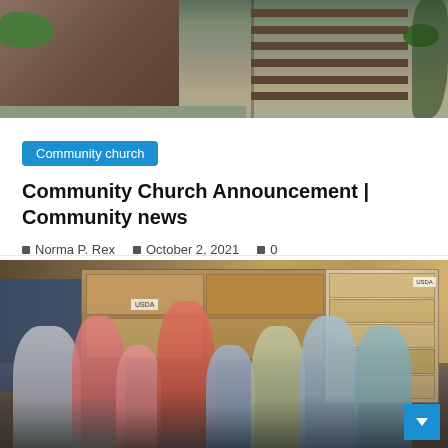[Figure (photo): Top portion of a building exterior showing wooden stairs with railing, stone masonry, and green shrubbery]
Community church
Community Church Announcement | Community news
Norma P. Rex   October 2, 2021   0
[Figure (photo): Group photo of approximately 10 people (adults and children) standing in front of stacked boxes and canned goods in what appears to be a food pantry or warehouse. Signs read USDA.]